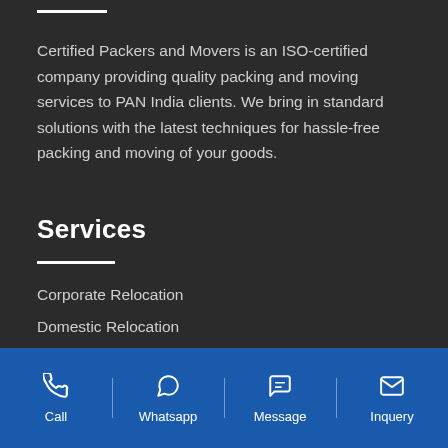Certified Packers and Movers is an ISO-certified company providing quality packing and moving services to PAN India clients. We bring in standard solutions with the latest techniques for hassle-free packing and moving of your goods.
Services
Corporate Relocation
Domestic Relocation
Insurance Services
Call | Whatsapp | Message | Inquery